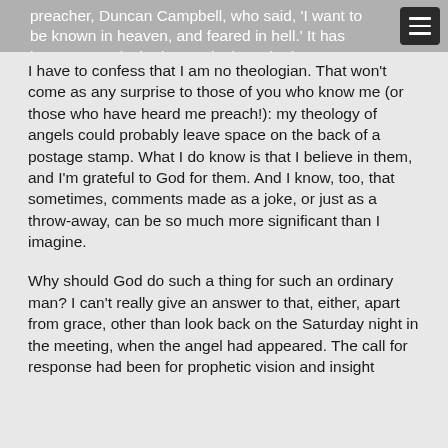preacher, Duncan Campbell, who said, 'I want to be known in heaven, and feared in hell.' It has become my desire increasingly to do damage to that principality ever since, and to be able to echo Campbell's words…
I have to confess that I am no theologian. That won't come as any surprise to those of you who know me (or those who have heard me preach!): my theology of angels could probably leave space on the back of a postage stamp. What I do know is that I believe in them, and I'm grateful to God for them. And I know, too, that sometimes, comments made as a joke, or just as a throw-away, can be so much more significant than I imagine.
Why should God do such a thing for such an ordinary man? I can't really give an answer to that, either, apart from grace, other than look back on the Saturday night in the meeting, when the angel had appeared. The call for response had been for prophetic vision and insight in the nations, but as I remember, there was…